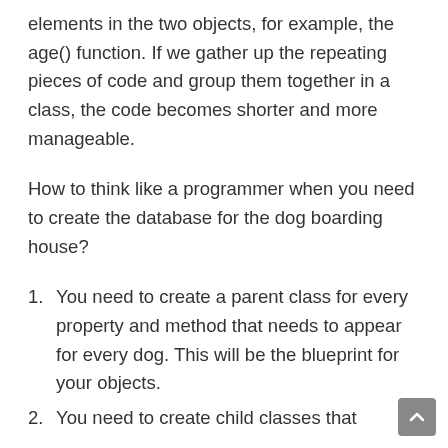elements in the two objects, for example, the age() function. If we gather up the repeating pieces of code and group them together in a class, the code becomes shorter and more manageable.
How to think like a programmer when you need to create the database for the dog boarding house?
You need to create a parent class for every property and method that needs to appear for every dog. This will be the blueprint for your objects.
You need to create child classes that